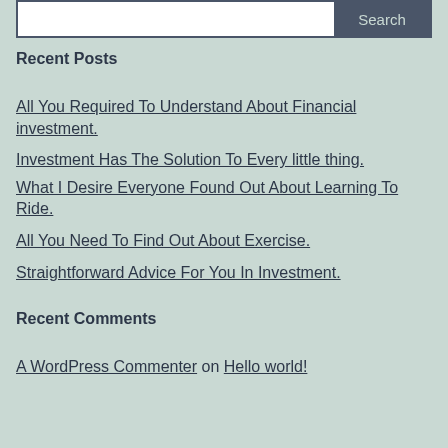Recent Posts
All You Required To Understand About Financial investment.
Investment Has The Solution To Every little thing.
What I Desire Everyone Found Out About Learning To Ride.
All You Need To Find Out About Exercise.
Straightforward Advice For You In Investment.
Recent Comments
A WordPress Commenter on Hello world!